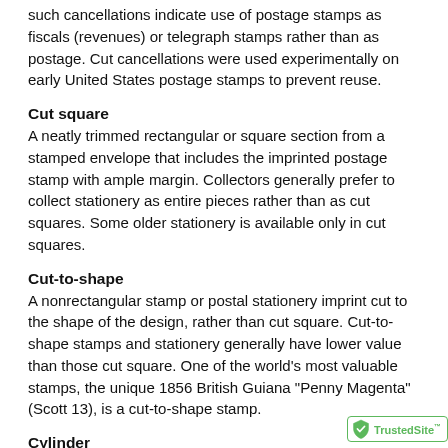such cancellations indicate use of postage stamps as fiscals (revenues) or telegraph stamps rather than as postage. Cut cancellations were used experimentally on early United States postage stamps to prevent reuse.
Cut square
A neatly trimmed rectangular or square section from a stamped envelope that includes the imprinted postage stamp with ample margin. Collectors generally prefer to collect stationery as entire pieces rather than as cut squares. Some older stationery is available only in cut squares.
Cut-to-shape
A nonrectangular stamp or postal stationery imprint cut to the shape of the design, rather than cut square. Cut-to-shape stamps and stationery generally have lower value than those cut square. One of the world's most valuable stamps, the unique 1856 British Guiana "Penny Magenta" (Scott 13), is a cut-to-shape stamp.
Cylinder
A curved printing plate used on a modern rotary press. The plate has no seams. For United States stamps, cylinders are used to print gravure stamps. See also Sleeve.